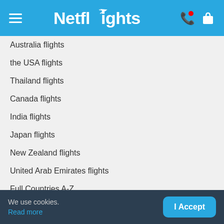Netflights
Australia flights
the USA flights
Thailand flights
Canada flights
India flights
Japan flights
New Zealand flights
United Arab Emirates flights
Full Countries A-Z
Exploring Cities
New York flights
Dubai flights
Orlando flights
We use cookies. Read more  I Accept